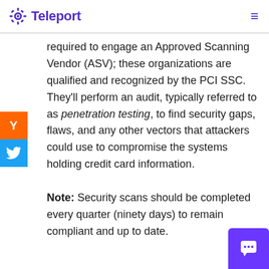Teleport
required to engage an Approved Scanning Vendor (ASV); these organizations are qualified and recognized by the PCI SSC. They'll perform an audit, typically referred to as penetration testing, to find security gaps, flaws, and any other vectors that attackers could use to compromise the systems holding credit card information.
Note: Security scans should be completed every quarter (ninety days) to remain compliant and up to date.